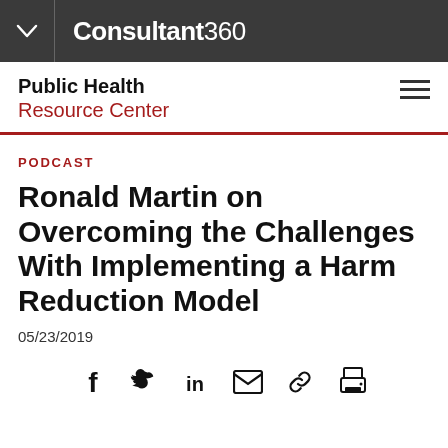Consultant360
Public Health Resource Center
PODCAST
Ronald Martin on Overcoming the Challenges With Implementing a Harm Reduction Model
05/23/2019
[Figure (infographic): Social sharing icons: Facebook, Twitter, LinkedIn, Email, Link, Print]